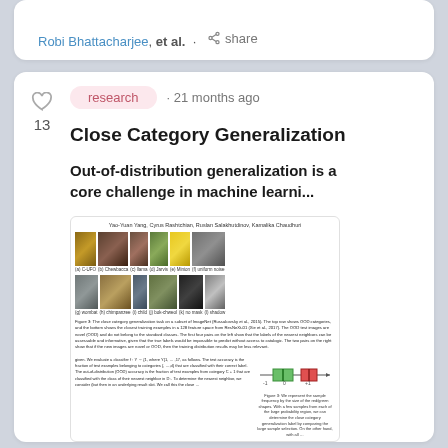Robi Bhattacharjee, et al. · share
research · 21 months ago
Close Category Generalization
Out-of-distribution generalization is a core challenge in machine learni...
[Figure (screenshot): Thumbnail of a research paper showing a grid of images (C-UFO, Chewbacca, llama, Jarvis, Minion, uniform noise, wombat, chimpanzee, child, bok-chweol, no mask, shadow) with a figure caption and paper body text below.]